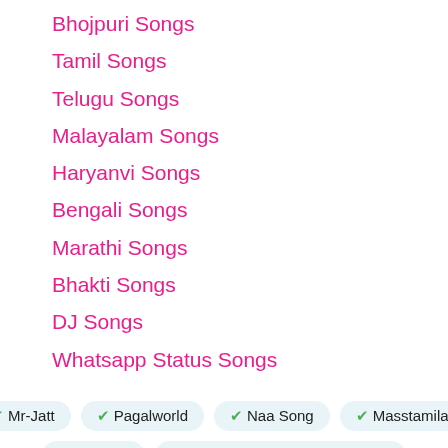Bhojpuri Songs
Tamil Songs
Telugu Songs
Malayalam Songs
Haryanvi Songs
Bengali Songs
Marathi Songs
Bhakti Songs
DJ Songs
Whatsapp Status Songs
✔ Mr-Jatt  ✔ Pagalworld  ✔ Naa Song  ✔ Masstamilan  ✔ Maango  ✔ 320Kbps Mp3 Song Download  ✔ Free Download  ✔ Mp4 Video Song